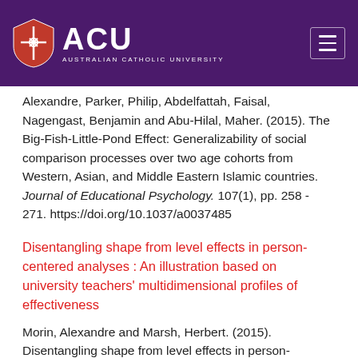[Figure (logo): ACU Australian Catholic University logo and navigation header with purple background]
Alexandre, Parker, Philip, Abdelfattah, Faisal, Nagengast, Benjamin and Abu-Hilal, Maher. (2015). The Big-Fish-Little-Pond Effect: Generalizability of social comparison processes over two age cohorts from Western, Asian, and Middle Eastern Islamic countries. Journal of Educational Psychology. 107(1), pp. 258 - 271. https://doi.org/10.1037/a0037485
Disentangling shape from level effects in person-centered analyses : An illustration based on university teachers' multidimensional profiles of effectiveness
Morin, Alexandre and Marsh, Herbert. (2015). Disentangling shape from level effects in person-